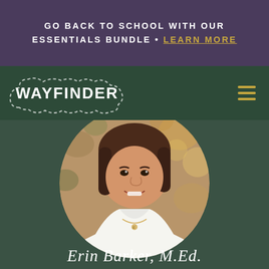GO BACK TO SCHOOL WITH OUR ESSENTIALS BUNDLE • LEARN MORE
[Figure (logo): Wayfinder logo with dashed cloud/heart outline and hamburger menu icon on dark green navigation bar]
[Figure (photo): Circular portrait photo of a smiling woman with short brown hair, wearing a white v-neck top and a necklace with letter E, against an outdoor bokeh background]
Erin Barker, M.Ed.